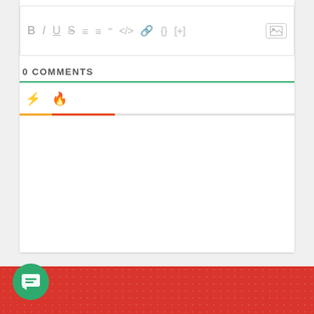[Figure (screenshot): Text editor toolbar with formatting icons: B (bold), I (italic), U (underline), S (strikethrough), ordered list, unordered list, blockquote, code, link, braces, [+], and an image icon on the right]
0 COMMENTS
[Figure (screenshot): Comment section tab bar with a lightning bolt icon (yellow) and a fire icon (red-orange), with a green separator line above and a colored tab indicator bar below. A red footer strip with dotted pattern at the bottom contains a green circular chat button with a message icon.]